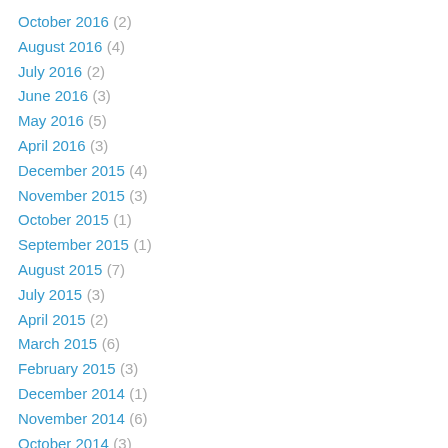October 2016 (2)
August 2016 (4)
July 2016 (2)
June 2016 (3)
May 2016 (5)
April 2016 (3)
December 2015 (4)
November 2015 (3)
October 2015 (1)
September 2015 (1)
August 2015 (7)
July 2015 (3)
April 2015 (2)
March 2015 (6)
February 2015 (3)
December 2014 (1)
November 2014 (6)
October 2014 (3)
September 2014 (1)
August 2014 (6)